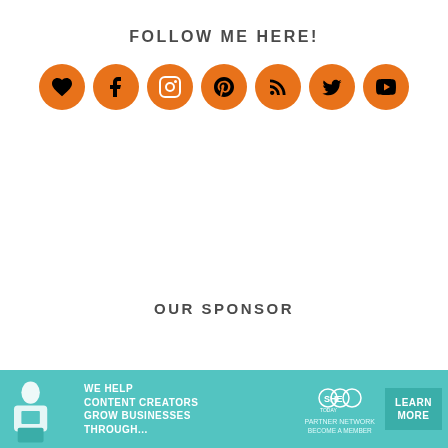FOLLOW ME HERE!
[Figure (infographic): Seven orange circular social media icons in a row: heart/Bloglovin, Facebook, Instagram, Pinterest, RSS, Twitter, YouTube]
OUR SPONSOR
GET SUMMER'S NEWSLETTER!
Stay up to date and get subscriber-only
[Figure (infographic): SHE Media Partner Network advertisement banner with teal background. Woman with laptop on left, SHE Today logo in center, 'We help content creators grow businesses through...' text, and 'Learn More / Become a Member' button on right.]